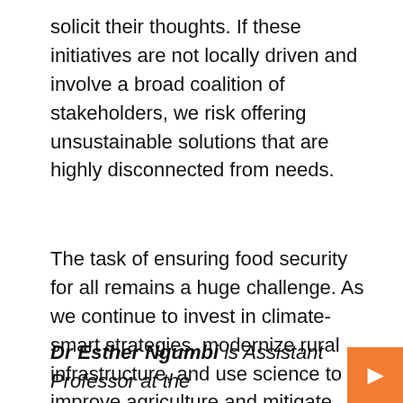solicit their thoughts. If these initiatives are not locally driven and involve a broad coalition of stakeholders, we risk offering unsustainable solutions that are highly disconnected from needs.
The task of ensuring food security for all remains a huge challenge. As we continue to invest in climate-smart strategies, modernize rural infrastructure, and use science to improve agriculture and mitigate weather events associated with climate change, we will make progress. We must do everything to fight against food insecurity.
Dr Esther Ngumbi is Assistant Professor at the